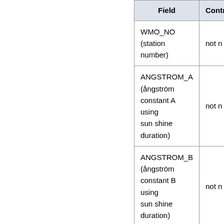| Field | Contr… |
| --- | --- |
| WMO_NO (station number) | not n… |
| ANGSTROM_A (ångström constant A using sun shine duration) | not n… |
| ANGSTROM_B (ångström constant B using sun shine duration) | not n… |
| SUPIT_A (supit constant A using cloud cover and temperature) | not n… |